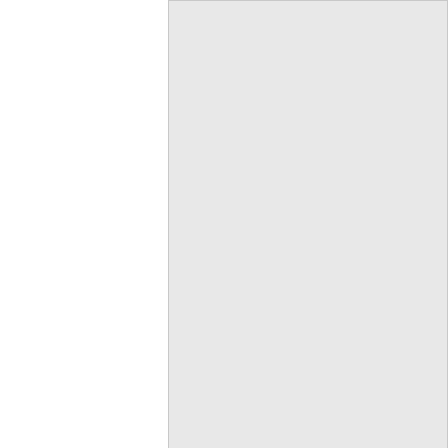[Figure (photo): A light gray placeholder image area, partially visible, occupying the upper right portion of the page.]
Two litle sprouts
New World Fair 2012
Apr 06 2012
The Subway Diaries - Adventures of a Subway Musicia...
Author, Busker, Busking, Heidi Kole, New Wolrd Fair, Singer, Songwriter, The Subway Diaries, Times Square
When I'm not busking, meandering along Hudson... sustainable garden, I'm helping my friend Kevin Vancio...